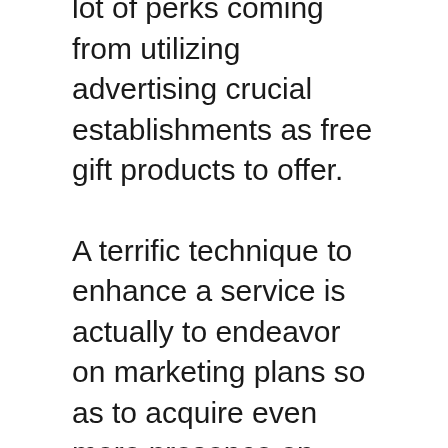lot of perks coming from utilizing advertising crucial establishments as free gift products to offer.
A terrific technique to enhance a service is actually to endeavor on marketing plans so as to acquire even more presence on your companies, firm, or even purchases. There is actually no question that distributing complimentary things or even marketing giveaways to your consumers will certainly enrich recognition for your companies and also can easily succeed you far better buying for your company.
Promo vital establishments use a fantastic service for creating recognized your provider solutions. There are actually a great deal of